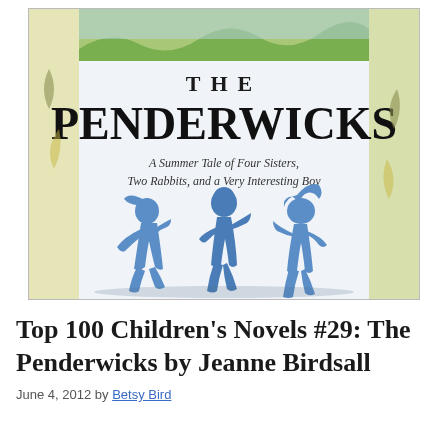[Figure (illustration): Book cover of The Penderwicks showing title text 'THE PENDERWICKS' in bold black serif font, subtitle 'A Summer Tale of Four Sisters, Two Rabbits, and a Very Interesting Boy' in italic, with blue silhouette illustrations of three children running, set against a light background with yellow and blue decorative border]
Top 100 Children's Novels #29: The Penderwicks by Jeanne Birdsall
June 4, 2012 by Betsy Bird